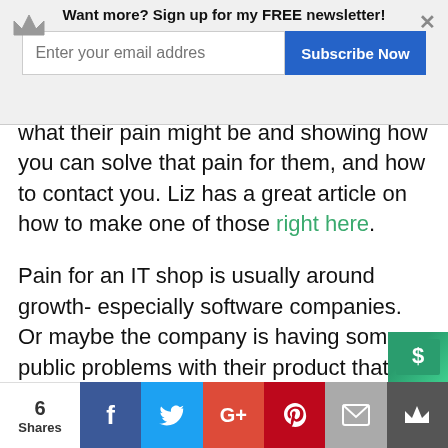Want more? Sign up for my FREE newsletter! [email input] [Subscribe Now] [×]
what their pain might be and showing how you can solve that pain for them, and how to contact you. Liz has a great article on how to make one of those right here.
Pain for an IT shop is usually around growth- especially software companies. Or maybe the company is having some public problems with their product that you can help with. Get into their shoes and see what you can figure out.
You will just staple your Pain Letter to the
6 Shares [Facebook] [Twitter] [Google+] [Pinterest] [Email] [Crown]